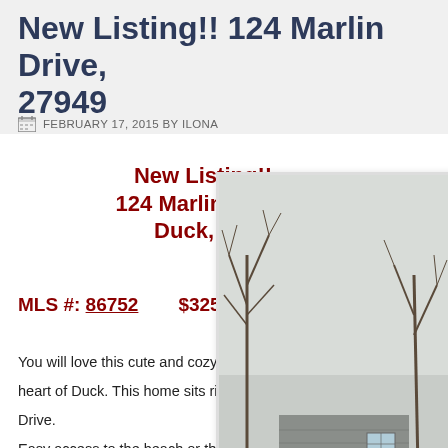New Listing!! 124 Marlin Drive, 27949
FEBRUARY 17, 2015 BY ILONA
New Listing!! 124 Marlin Drive, Duck, NC
MLS #: 86752   $325,000
[Figure (photo): Exterior photo of a beach house at 124 Marlin Drive, Duck, NC — a grey shingled cottage with wooden stairs, surrounded by bare trees and dry grass in winter.]
You will love this cute and cozy beach house right in the heart of Duck. This home sits right in the middle of Marlin Drive. Easy access to the beach or the foot/bike path into Town for shopping, bedrooms and 2 full baths on the top floor. Along with an open concept...